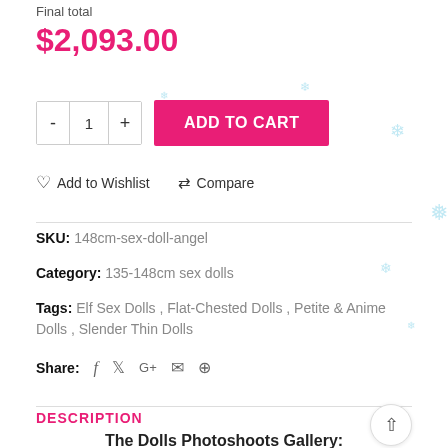Final total
$2,093.00
- 1 + ADD TO CART
♡ Add to Wishlist   ⇄ Compare
SKU: 148cm-sex-doll-angel
Category: 135-148cm sex dolls
Tags: Elf Sex Dolls , Flat-Chested Dolls , Petite & Anime Dolls , Slender Thin Dolls
Share: f  twitter  G+  email  pinterest
DESCRIPTION
The Dolls Photoshoots Gallery: